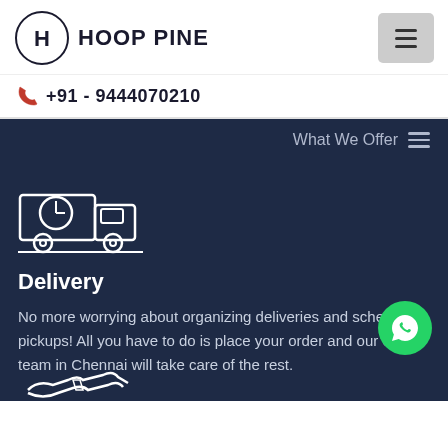[Figure (logo): Hoop Pine logo: circular icon with H letter mark and HOOP PINE text]
+91 - 9444070210
What We Offer
[Figure (illustration): Delivery truck with clock icon in white outline on dark navy background]
Delivery
No more worrying about organizing deliveries and scheduling pickups! All you have to do is place your order and our expert team in Chennai will take care of the rest.
[Figure (illustration): Handshake icon in white outline at bottom of dark section]
[Figure (illustration): WhatsApp floating button (green circle with WhatsApp icon)]